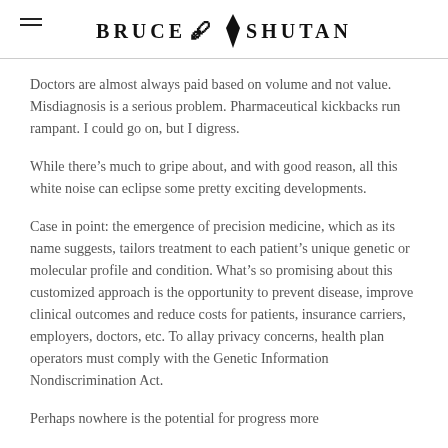BRUCE SHUTAN
Doctors are almost always paid based on volume and not value. Misdiagnosis is a serious problem. Pharmaceutical kickbacks run rampant. I could go on, but I digress.
While there’s much to gripe about, and with good reason, all this white noise can eclipse some pretty exciting developments.
Case in point: the emergence of precision medicine, which as its name suggests, tailors treatment to each patient’s unique genetic or molecular profile and condition. What’s so promising about this customized approach is the opportunity to prevent disease, improve clinical outcomes and reduce costs for patients, insurance carriers, employers, doctors, etc. To allay privacy concerns, health plan operators must comply with the Genetic Information Nondiscrimination Act.
Perhaps nowhere is the potential for progress more